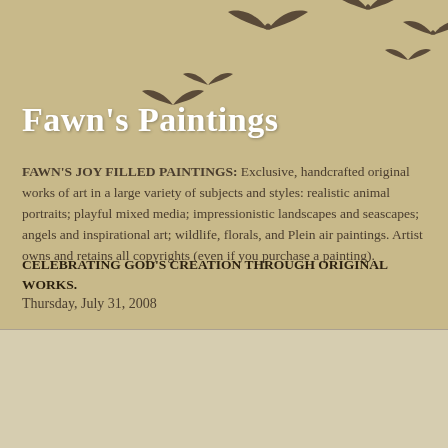Fawn's Paintings
FAWN'S JOY FILLED PAINTINGS: Exclusive, handcrafted original works of art in a large variety of subjects and styles: realistic animal portraits; playful mixed media; impressionistic landscapes and seascapes; angels and inspirational art; wildlife, florals, and Plein air paintings. Artist owns and retains all copyrights (even if you purchase a painting).
CELEBRATING GOD'S CREATION THROUGH ORIGINAL WORKS.
Thursday, July 31, 2008
The Forth Day, abstract palette knife painting
[Figure (photo): Partial thumbnail of a painting at the bottom of the page]